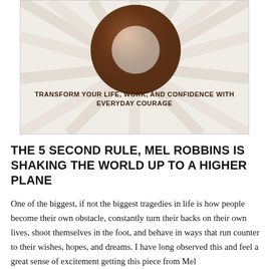[Figure (illustration): Book cover showing a donut-shaped object (the number 5) on a sunburst background with the subtitle: TRANSFORM YOUR LIFE, WORK, AND CONFIDENCE WITH EVERYDAY COURAGE]
THE 5 SECOND RULE, MEL ROBBINS IS SHAKING THE WORLD UP TO A HIGHER PLANE
One of the biggest, if not the biggest tragedies in life is how people become their own obstacle, constantly turn their backs on their own lives, shoot themselves in the foot, and behave in ways that run counter to their wishes, hopes, and dreams. I have long observed this and feel a great sense of excitement getting this piece from Mel